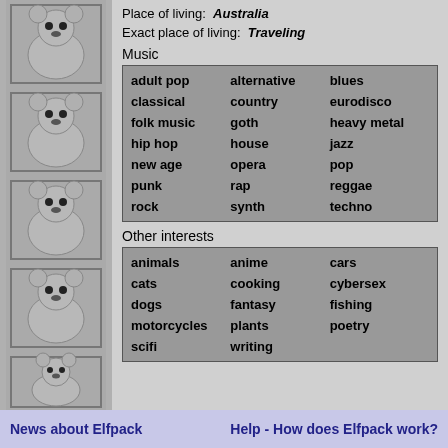Place of living: Australia
Exact place of living: Traveling
Music
| adult pop | alternative | blues |
| classical | country | eurodisco |
| folk music | goth | heavy metal |
| hip hop | house | jazz |
| new age | opera | pop |
| punk | rap | reggae |
| rock | synth | techno |
Other interests
| animals | anime | cars |
| cats | cooking | cybersex |
| dogs | fantasy | fishing |
| motorcycles | plants | poetry |
| scifi | writing |  |
News about Elfpack    Help - How does Elfpack work?